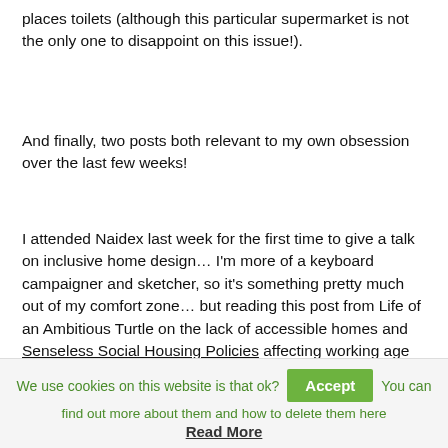places toilets (although this particular supermarket is not the only one to disappoint on this issue!).
And finally, two posts both relevant to my own obsession over the last few weeks!
I attended Naidex last week for the first time to give a talk on inclusive home design… I'm more of a keyboard campaigner and sketcher, so it's something pretty much out of my comfort zone… but reading this post from Life of an Ambitious Turtle on the lack of accessible homes and Senseless Social Housing Policies affecting working age disabled people, it reinforces to me how important it is to keep talking about this!
We use cookies on this website is that ok? Accept You can find out more about them and how to delete them here Read More